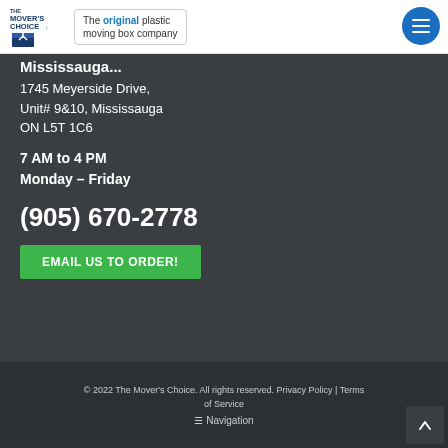[Figure (logo): The Mover's Choice logo with tagline 'The original plastic moving box company']
Mississauga
1745 Meyerside Drive, Unit# 9&10, Mississauga ON L5T 1C6
7 AM to 4 PM Monday – Friday
(905) 670-2778
EMAIL US TO ORDER!
© 2022 The Mover's Choice. All rights reserved. Privacy Policy | Terms of Service  Navigation